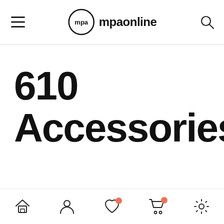mpaonline
610 Accessories
Home | Account | Wishlist | Cart | Settings